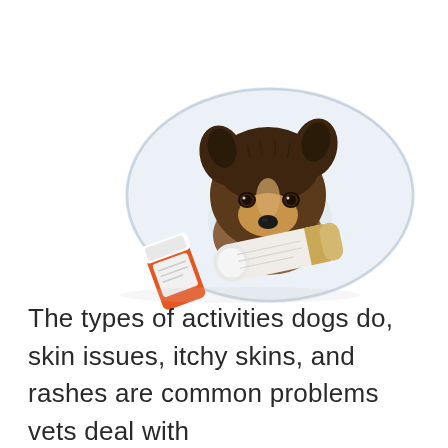[Figure (photo): A Shetland Sheepdog (Sheltie) wearing a white plastic cone/e-collar lying down, with an orange medication bottle and a white cylindrical medication tube/container lying in front of it, on a white background.]
The types of activities dogs do, skin issues, itchy skins, and rashes are common problems vets deal with